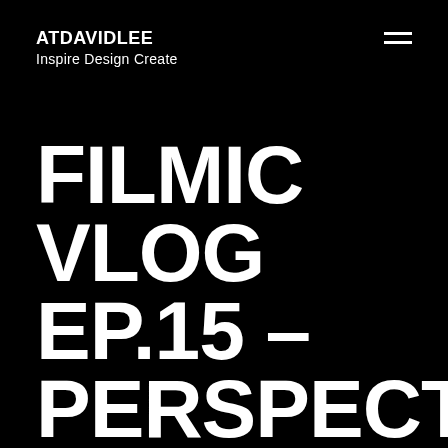ATDAVIDLEE
Inspire Design Create
FILMIC VLOG EP.15 – PERSPECTIV